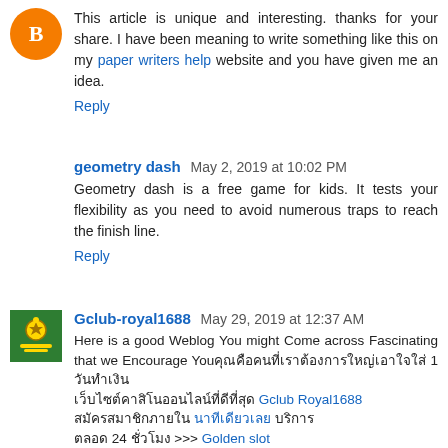This article is unique and interesting. thanks for your share. I have been meaning to write something like this on my paper writers help website and you have given me an idea.
Reply
geometry dash  May 2, 2019 at 10:02 PM
Geometry dash is a free game for kids. It tests your flexibility as you need to avoid numerous traps to reach the finish line.
Reply
Gclub-royal1688  May 29, 2019 at 12:37 AM
Here is a good Weblog You might Come across Fascinating that we Encourage You… 1 … … Gclub Royal1688 … … >>> Golden slot